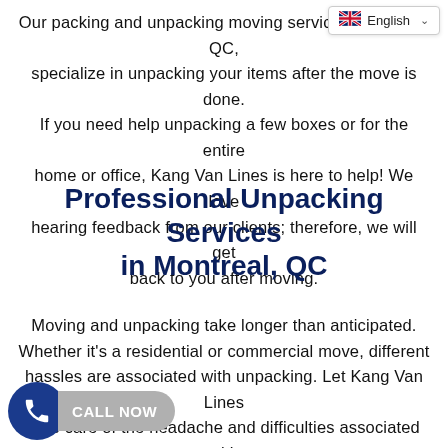[Figure (other): Language selector UI element showing UK flag and 'English' with dropdown arrow]
Our packing and unpacking moving services, Montreal, QC, specialize in unpacking your items after the move is done. If you need help unpacking a few boxes or for the entire home or office, Kang Van Lines is here to help! We love hearing feedback from our clients; therefore, we will get back to you after moving.
Professional Unpacking Services in Montreal, QC
Moving and unpacking take longer than anticipated. Whether it's a residential or commercial move, different hassles are associated with unpacking. Let Kang Van Lines take care of the headache and difficulties associated with unpacking. Our team of experience unpackers has years of experience to provide our clients with professional services in Montreal, QC. We customize our ensure our clients get the services they